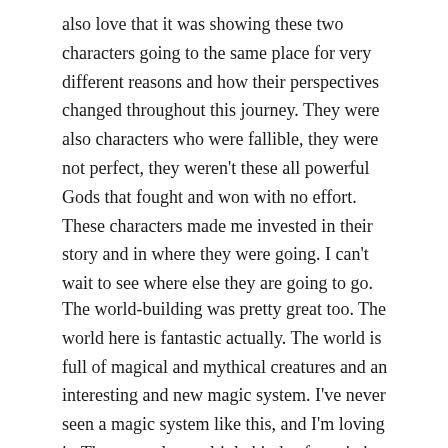also love that it was showing these two characters going to the same place for very different reasons and how their perspectives changed throughout this journey. They were also characters who were fallible, they were not perfect, they weren't these all powerful Gods that fought and won with no effort. These characters made me invested in their story and in where they were going. I can't wait to see where else they are going to go.
The world-building was pretty great too. The world here is fantastic actually. The world is full of magical and mythical creatures and an interesting and new magic system. I've never seen a magic system like this, and I'm loving it. There are also multiple kinds of magic in this world and it is very ingrained into the world building. One thing I'll say is that sometimes it can be a little hard to see where you are in the world, but part